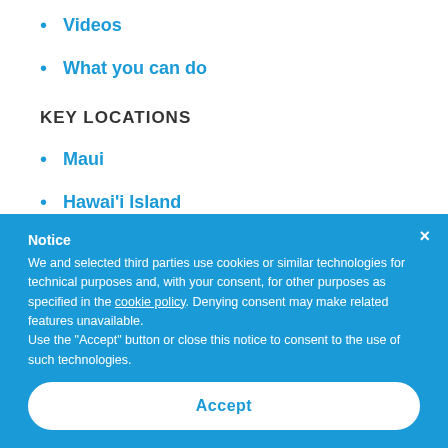Videos
What you can do
KEY LOCATIONS
Maui
Hawai'i Island
Notice
We and selected third parties use cookies or similar technologies for technical purposes and, with your consent, for other purposes as specified in the cookie policy. Denying consent may make related features unavailable.
Use the "Accept" button or close this notice to consent to the use of such technologies.
Accept